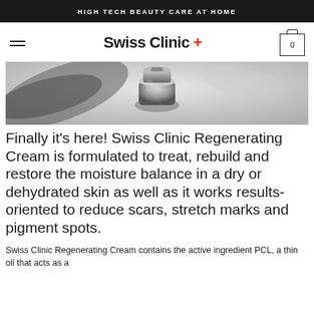HIGH TECH BEAUTY CARE AT HOME
Swiss Clinic +
[Figure (photo): Black and white close-up photo of a small glass cosmetic cream jar on a light background]
Finally it's here! Swiss Clinic Regenerating Cream is formulated to treat, rebuild and restore the moisture balance in a dry or dehydrated skin as well as it works results-oriented to reduce scars, stretch marks and pigment spots.
Swiss Clinic Regenerating Cream contains the active ingredient PCL, a thin oil that acts as a